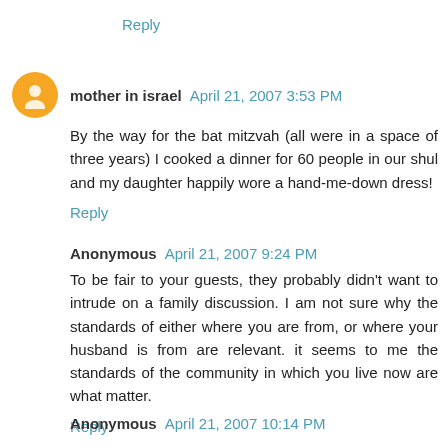Reply
mother in israel  April 21, 2007 3:53 PM
By the way for the bat mitzvah (all were in a space of three years) I cooked a dinner for 60 people in our shul and my daughter happily wore a hand-me-down dress!
Reply
Anonymous  April 21, 2007 9:24 PM
To be fair to your guests, they probably didn't want to intrude on a family discussion. I am not sure why the standards of either where you are from, or where your husband is from are relevant. it seems to me the standards of the community in which you live now are what matter.
Reply
Anonymous  April 21, 2007 10:14 PM